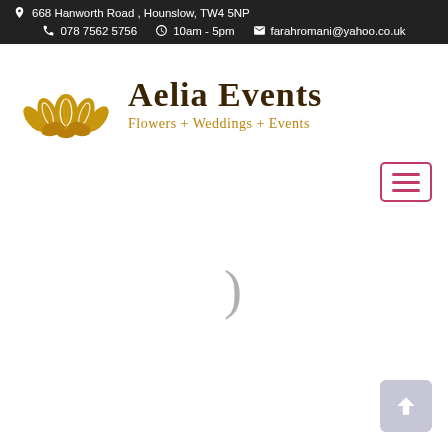668 Hanworth Road , Hounslow, TW4 5NP  ☎ 078 7562 5756  ⏰ 10am - 5pm  ✉ farahromani@yahoo.co.uk
[Figure (logo): Aelia Events logo: golden lotus flower icon with text 'Aelia Events' and tagline 'Flowers + Weddings + Events']
[Figure (screenshot): Hamburger menu button with pink/red border and three horizontal bars]
[Figure (other): Loading spinner partial symbol - a closing parenthesis character in gray, indicating a loading state]
[Figure (other): Scroll-to-top button: light purple/gray rounded square with upward arrow icon in bottom-right corner]